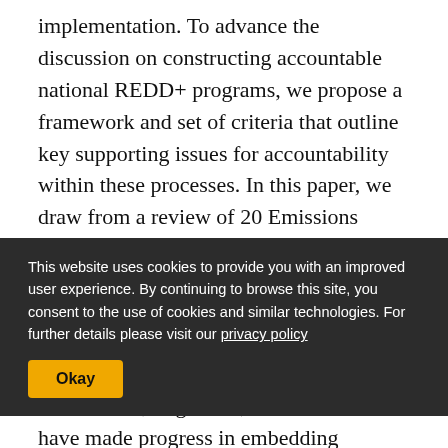implementation. To advance the discussion on constructing accountable national REDD+ programs, we propose a framework and set of criteria that outline key supporting issues for accountability within these processes. In this paper, we draw from a review of 20 Emissions Reduction Program Idea Notes (ER-PINs) submitted to the Forest Carbon Partnership Facility's (FCPF's) Carbon Fund, and evaluate current trends in how
This website uses cookies to provide you with an improved user experience. By continuing to browse this site, you consent to the use of cookies and similar technologies. For further details please visit our privacy policy
Okay
w finds that, in general, REDD+ countries have made progress in embedding national governance arrangements within existing